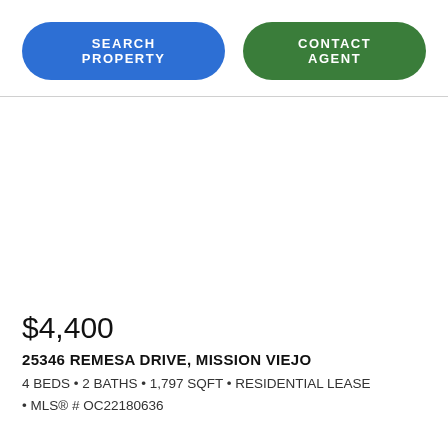SEARCH PROPERTY | CONTACT AGENT
[Figure (photo): Property listing photo area (blank/white in this view)]
$4,400
25346 REMESA DRIVE, MISSION VIEJO
4 BEDS • 2 BATHS • 1,797 SQFT • RESIDENTIAL LEASE • MLS® # OC22180636